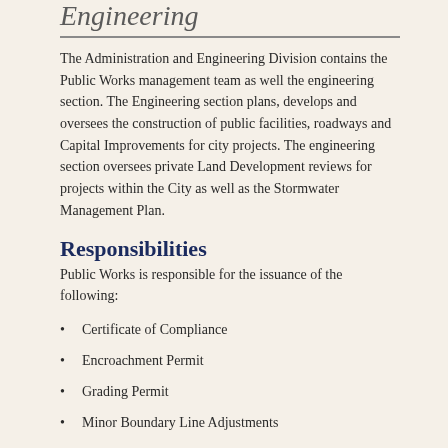Engineering
The Administration and Engineering Division contains the Public Works management team as well the engineering section. The Engineering section plans, develops and oversees the construction of public facilities, roadways and Capital Improvements for city projects. The engineering section oversees private Land Development reviews for projects within the City as well as the Stormwater Management Plan.
Responsibilities
Public Works is responsible for the issuance of the following:
Certificate of Compliance
Encroachment Permit
Grading Permit
Minor Boundary Line Adjustments
Street Banners
Transportation Permit